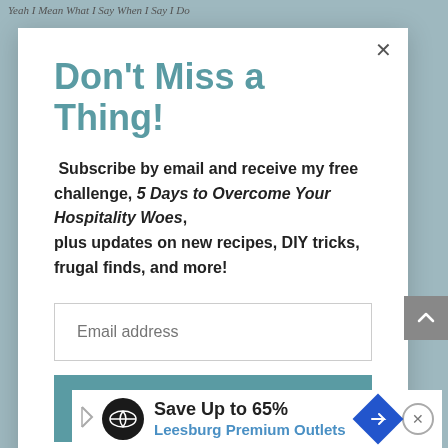Yeah I Mean What I Say When I Say I Do
Don't Miss a Thing!
Subscribe by email and receive my free challenge, 5 Days to Overcome Your Hospitality Woes, plus updates on new recipes, DIY tricks, frugal finds, and more!
Email address
SUBSCRIBE
Save Up to 65% Leesburg Premium Outlets